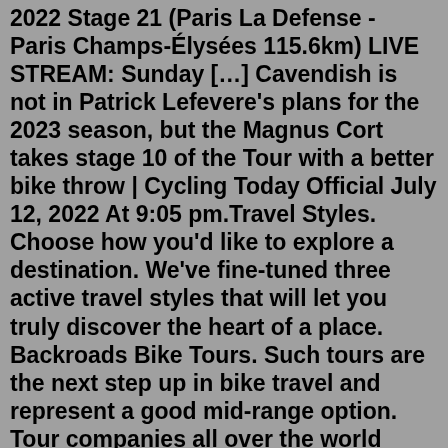2022 Stage 21 (Paris La Defense - Paris Champs-Élysées 115.6km) LIVE STREAM: Sunday [...] Cavendish is not in Patrick Lefevere's plans for the 2023 season, but the Magnus Cort takes stage 10 of the Tour with a better bike throw | Cycling Today Official July 12, 2022 At 9:05 pm.Travel Styles. Choose how you'd like to explore a destination. We've fine-tuned three active travel styles that will let you truly discover the heart of a place. Backroads Bike Tours. Such tours are the next step up in bike travel and represent a good mid-range option. Tour companies all over the world arrange packages that include rental bikes, a daily cycling plan over quiet roads or paths, and accommodations ranging from farmstays and B&Bs to...New Hampshire. Activity. Biking. Level. Intermediate. Duration. 5 days / 4 nights. This taste of The Monadnock Region of Southern NH is perfect if you love stunning landscapes, super quiet roads, and are curious to explore one of New England's most historically fascinating destinations. From $2,395 PP 5 days / 4